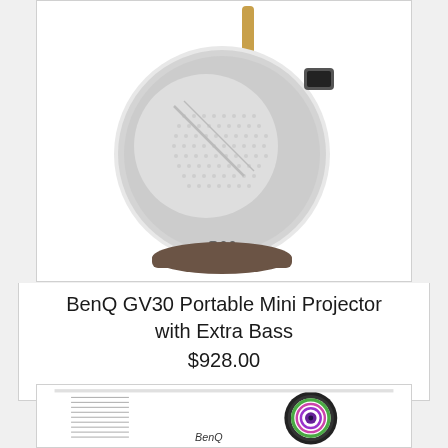[Figure (photo): BenQ GV30 portable mini projector, round white device with mesh speaker grille, gold antenna, brown base, lens on right side]
BenQ GV30 Portable Mini Projector with Extra Bass
$928.00
[Figure (photo): BenQ projector, white rectangular design with colorful lens (green, pink, purple rings), BenQ branding visible, ventilation grilles on left side]